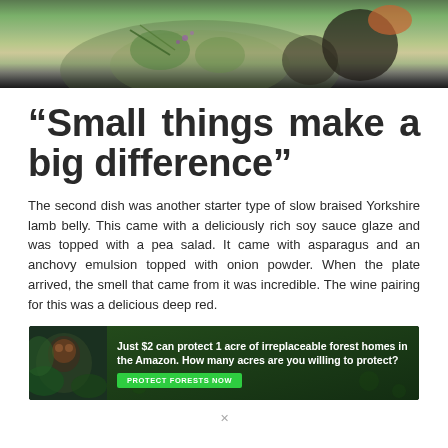[Figure (photo): Food photo showing a plated dish with green vegetables, garnishes, and dark elements on a grey surface, cropped to show only the top portion]
“Small things make a big difference”
The second dish was another starter type of slow braised Yorkshire lamb belly. This came with a deliciously rich soy sauce glaze and was topped with a pea salad. It came with asparagus and an anchovy emulsion topped with onion powder. When the plate arrived, the smell that came from it was incredible. The wine pairing for this was a delicious deep red.
[Figure (infographic): Advertisement banner: dark green forest background with orangutan image. Text reads: Just $2 can protect 1 acre of irreplaceable forest homes in the Amazon. How many acres are you willing to protect? Button: PROTECT FORESTS NOW]
x